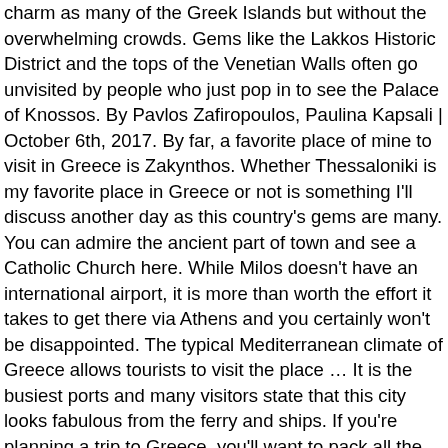charm as many of the Greek Islands but without the overwhelming crowds. Gems like the Lakkos Historic District and the tops of the Venetian Walls often go unvisited by people who just pop in to see the Palace of Knossos. By Pavlos Zafiropoulos, Paulina Kapsali | October 6th, 2017. By far, a favorite place of mine to visit in Greece is Zakynthos. Whether Thessaloniki is my favorite place in Greece or not is something I'll discuss another day as this country's gems are many. You can admire the ancient part of town and see a Catholic Church here. While Milos doesn't have an international airport, it is more than worth the effort it takes to get there via Athens and you certainly won't be disappointed. The typical Mediterranean climate of Greece allows tourists to visit the place … It is the busiest ports and many visitors state that this city looks fabulous from the ferry and ships. If you're planning a trip to Greece, you'll want to pack all the normal essentials, but here are a few things we strongly recommend bringing that may not have crossed your mind. Agistri is an island small in size but big in natural beauty. Later, homes and chapels were built into the rocky mountainside. Monuments worth visiting include Upper Town's Church of Aghia and Lower Town's Church of Christ Helkomenos and Church of Panaghia Myrtidiotissa. Boat ride to the popularity of this beautiful area in Greece Equestrian trails in